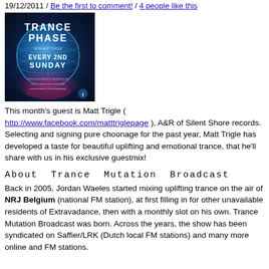19/12/2011 / Be the first to comment! / 4 people like this
[Figure (photo): Trance Phase promotional image with text 'TRANCE PHASE WITH MATT TRIGLE EVERY 2ND SUNDAY', showing a globe and colorful digital art]
This month’s guest is Matt Trigle ( http://www.facebook.com/matttriglepage ), A&R of Silent Shore records. Selecting and signing pure choonage for the past year, Matt Trigle has developed a taste for beautiful uplifting and emotional trance, that he’ll share with us in his exclusive guestmix!
About Trance Mutation Broadcast
Back in 2005, Jordan Waeles started mixing uplifting trance on the air of NRJ Belgium (national FM station), at first filling in for other unavailable residents of Extravadance, then with a monthly slot on his own. Trance Mutation Broadcast was born. Across the years, the show has been syndicated on Saffier/LRK (Dutch local FM stations) and many more online and FM stations.